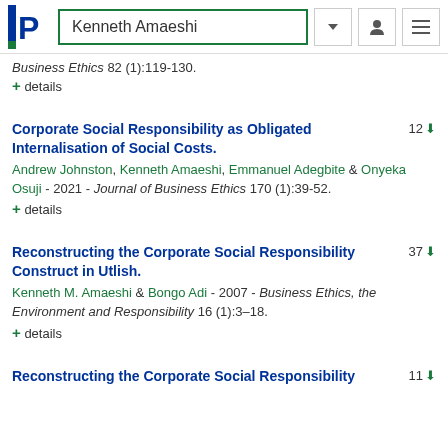Kenneth Amaeshi
Business Ethics 82 (1):119-130.
+ details
Corporate Social Responsibility as Obligated Internalisation of Social Costs.
Andrew Johnston, Kenneth Amaeshi, Emmanuel Adegbite & Onyeka Osuji - 2021 - Journal of Business Ethics 170 (1):39-52.
+ details
Reconstructing the Corporate Social Responsibility Construct in Utlish.
Kenneth M. Amaeshi & Bongo Adi - 2007 - Business Ethics, the Environment and Responsibility 16 (1):3–18.
+ details
Reconstructing the Corporate Social Responsibility